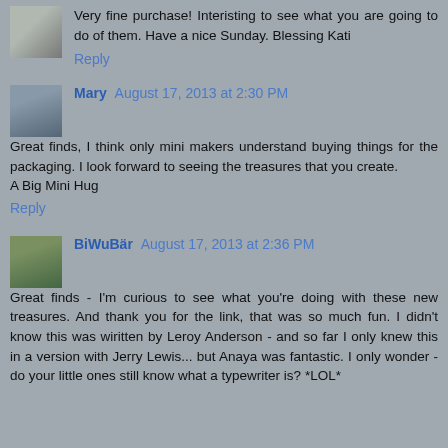Very fine purchase! Interisting to see what you are going to do of them. Have a nice Sunday. Blessing Kati
Reply
Mary August 17, 2013 at 2:30 PM
Great finds, I think only mini makers understand buying things for the packaging. I look forward to seeing the treasures that you create.
A Big Mini Hug
Reply
BiWuBär August 17, 2013 at 2:36 PM
Great finds - I'm curious to see what you're doing with these new treasures. And thank you for the link, that was so much fun. I didn't know this was wiritten by Leroy Anderson - and so far I only knew this in a version with Jerry Lewis... but Anaya was fantastic. I only wonder - do your little ones still know what a typewriter is? *LOL*